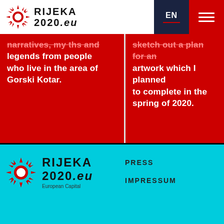[Figure (logo): Rijeka 2020.eu logo with red sunburst/spiky circle icon and bold text RIJEKA 2020.eu]
narratives, myths and legends from people who live in the area of Gorski Kotar.
sketch out a plan for an artwork which I planned to complete in the spring of 2020.
27 Neighbourhoods  |  Living Room
|  Neighbourhood Festivals
|  Network of cinema in exotic locations
|  Literature
[Figure (logo): Rijeka 2020.eu footer logo with red sunburst icon and bold text RIJEKA 2020.eu]
PRESS
IMPRESSUM